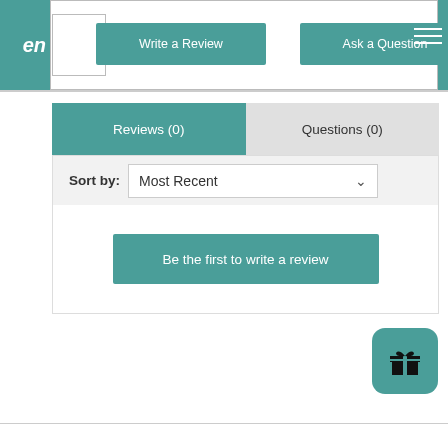[Figure (screenshot): Website header bar with teal background, logo area on left, white inner panel with Write a Review and Ask a Question buttons, hamburger menu icon on right]
Write a Review
Ask a Question
Reviews (0)
Questions (0)
Sort by:  Most Recent
Be the first to write a review
[Figure (illustration): Teal rounded square button with gift/present icon in black]